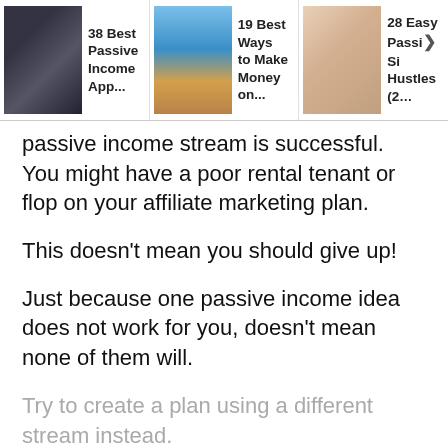[Figure (screenshot): Navigation header bar with three article thumbnails: '38 Best Passive Income App...', '19 Best Ways to Make Money on...', '28 Easy Passive Side Hustles (2...']
passive income stream is successful. You might have a poor rental tenant or flop on your affiliate marketing plan.
This doesn’t mean you should give up!
Just because one passive income idea does not work for you, doesn’t mean none of them will.
Try to create a plan using a different stream instead.